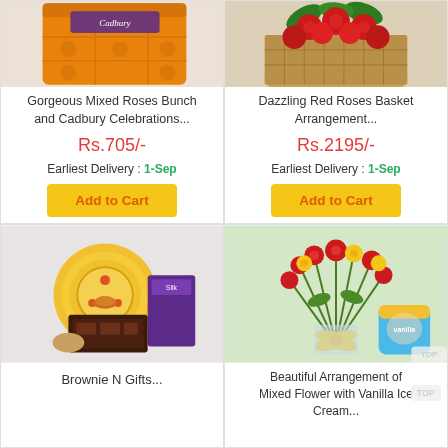[Figure (photo): Orange Cadbury Celebrations chocolate box product image]
Gorgeous Mixed Roses Bunch and Cadbury Celebrations...
Rs.705/-
Earliest Delivery : 1-Sep
Add to Cart
[Figure (photo): Red roses basket arrangement on wooden surface]
Dazzling Red Roses Basket Arrangement...
Rs.2195/-
Earliest Delivery : 1-Sep
Add to Cart
[Figure (photo): Brownie N Gifts set with puja thali, chocolates and sweets]
Brownie N Gifts...
[Figure (photo): Mixed flower bouquet with yellow bow and vanilla ice cream tub]
Beautiful Arrangement of Mixed Flower with Vanilla Ice Cream...